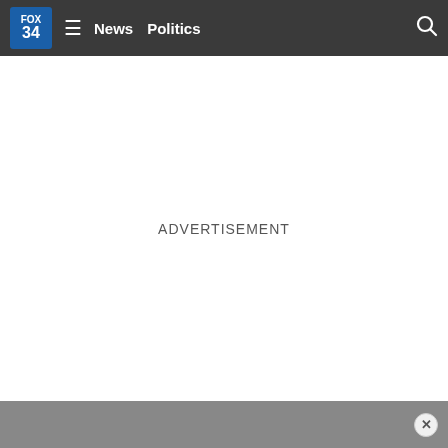FOX 34  ≡  News  Politics  🔍
ADVERTISEMENT